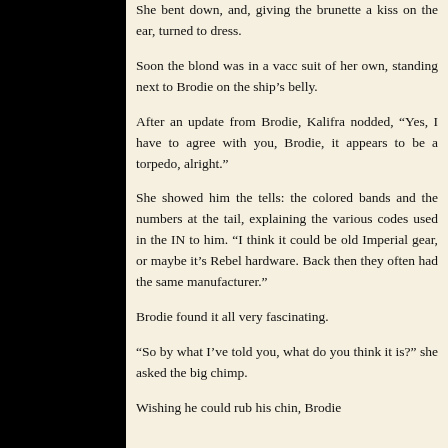She bent down, and, giving the brunette a kiss on the ear, turned to dress.
Soon the blond was in a vacc suit of her own, standing next to Brodie on the ship’s belly.
After an update from Brodie, Kalifra nodded, “Yes, I have to agree with you, Brodie, it appears to be a torpedo, alright.”
She showed him the tells: the colored bands and the numbers at the tail, explaining the various codes used in the IN to him. “I think it could be old Imperial gear, or maybe it’s Rebel hardware. Back then they often had the same manufacturer.”
Brodie found it all very fascinating.
“So by what I’ve told you, what do you think it is?” she asked the big chimp.
Wishing he could rub his chin, Brodie said, “The signs agree with me...”